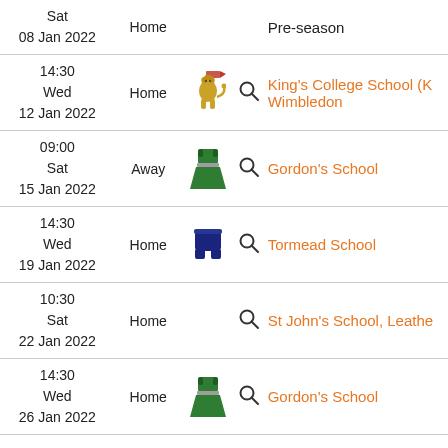| Date/Time | Venue | Icon | Search | Opponent | Type |
| --- | --- | --- | --- | --- | --- |
| Sat
08 Jan 2022 | Home |  |  | Pre-season |  |
| 14:30
Wed
12 Jan 2022 | Home | King's College School kit |  | King's College School (K Wimbledon |  |
| 09:00
Sat
15 Jan 2022 | Away | Gordon's School kit |  | Gordon's School |  |
| 14:30
Wed
19 Jan 2022 | Home | Tormead School kit |  | Tormead School |  |
| 10:30
Sat
22 Jan 2022 | Home |  |  | St John's School, Leathe |  |
| 14:30
Wed
26 Jan 2022 | Home | Gordon's School kit |  | Gordon's School |  |